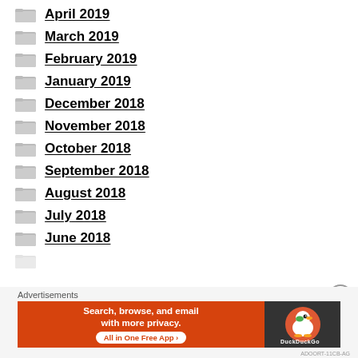April 2019
March 2019
February 2019
January 2019
December 2018
November 2018
October 2018
September 2018
August 2018
July 2018
June 2018
[Figure (screenshot): DuckDuckGo advertisement banner: 'Search, browse, and email with more privacy. All in One Free App' with DuckDuckGo logo on dark background]